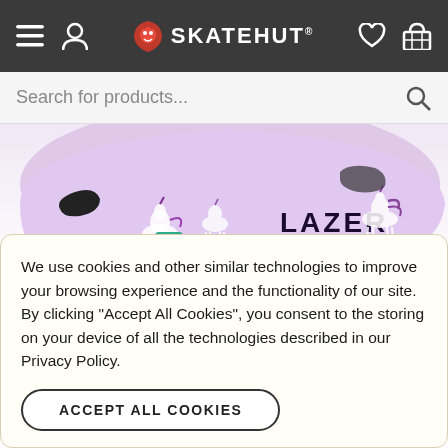SkateHut navigation bar with hamburger menu, user icon, SkateHut logo, heart icon, and basket icon
Search for products...
[Figure (photo): Close-up of a Lazer brand children's bicycle helmet in light purple/lavender color with white unicorn and purple unicorn graphic print, showing the side and visor area with black vents]
We use cookies and other similar technologies to improve your browsing experience and the functionality of our site. By clicking "Accept All Cookies", you consent to the storing on your device of all the technologies described in our Privacy Policy.
ACCEPT ALL COOKIES